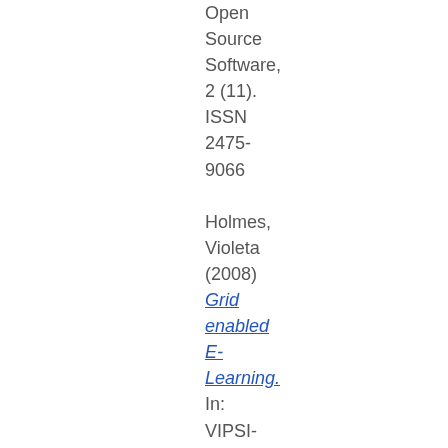Open Source Software, 2 (11). ISSN 2475-9066

Holmes, Violeta (2008) Grid enabled E-Learning. In: VIPSI-2008 PISA: Knowledge Engineering, Tutorials